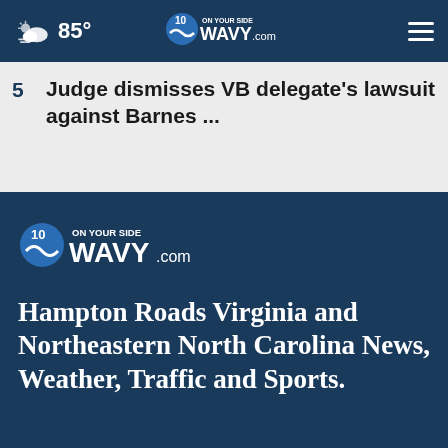85° WAVY.com On Your Side 10
5  Judge dismisses VB delegate's lawsuit against Barnes ...
[Figure (logo): WAVY.com On Your Side 10 logo]
Hampton Roads Virginia and Northeastern North Carolina News, Weather, Traffic and Sports.